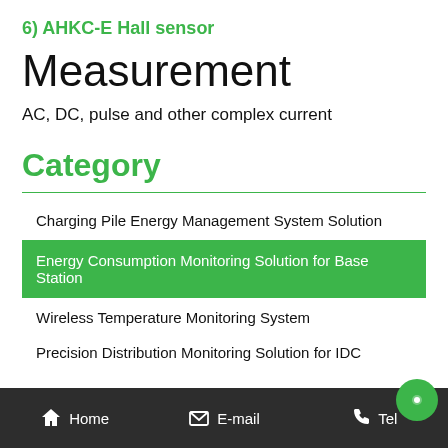6) AHKC-E Hall sensor
Measurement
AC, DC, pulse and other complex current
Category
Charging Pile Energy Management System Solution
Energy Consumption Monitoring Solution for Base Station
Wireless Temperature Monitoring System
Precision Distribution Monitoring Solution for IDC
Home   E-mail   Tel